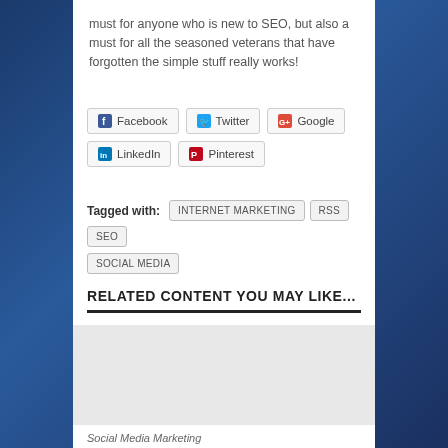must for anyone who is new to SEO, but also a must for all the seasoned veterans that have forgotten the simple stuff really works!
Facebook  Twitter  Google+  LinkedIn  Pinterest
Tagged with: INTERNET MARKETING  RSS  SEO  SOCIAL MEDIA
RELATED CONTENT YOU MAY LIKE...
[Figure (photo): Related content thumbnail image]
Social Media Marketing